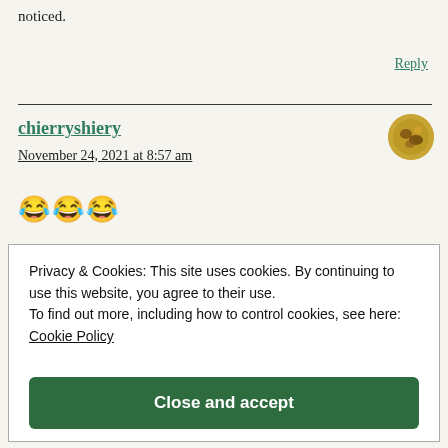noticed.
Reply
chierryshiery
November 24, 2021 at 8:57 am
[Figure (photo): User avatar thumbnail showing a golden-brown circular image]
😂😂😂
Privacy & Cookies: This site uses cookies. By continuing to use this website, you agree to their use.
To find out more, including how to control cookies, see here: Cookie Policy
Close and accept